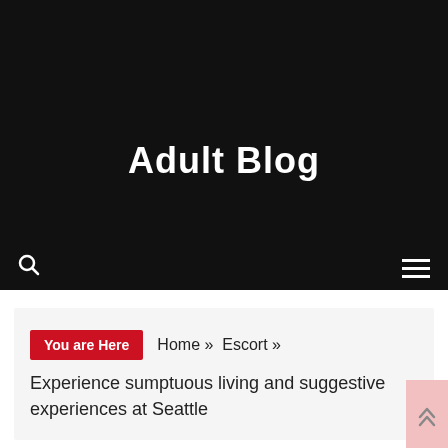Adult Blog
You are Here  Home » Escort »
Experience sumptuous living and suggestive experiences at Seattle
Escort
Experience sumptuous